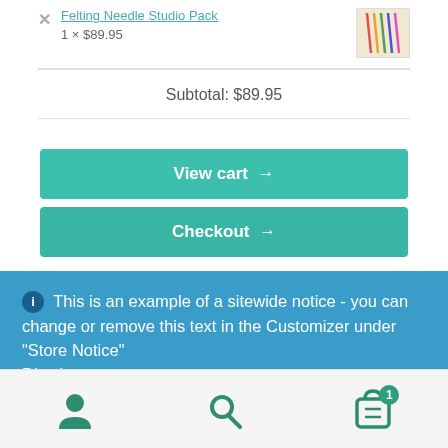Felting Needle Studio Pack
1 × $89.95
Subtotal: $89.95
View cart →
Checkout →
ℹ This is an example of a sitewide notice - you can change or remove this text in the Customizer under "Store Notice"
Dismiss
[Figure (screenshot): Bottom navigation bar with user icon, search icon, and cart icon with badge showing 1 item]